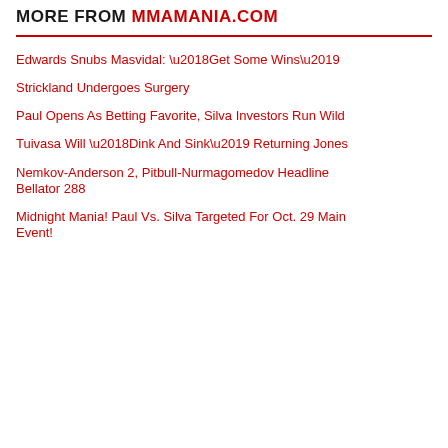MORE FROM MMAMANIA.COM
Edwards Snubs Masvidal: ‘Get Some Wins’
Strickland Undergoes Surgery
Paul Opens As Betting Favorite, Silva Investors Run Wild
Tuivasa Will ‘Dink And Sink’ Returning Jones
Nemkov-Anderson 2, Pitbull-Nurmagomedov Headline Bellator 288
Midnight Mania! Paul Vs. Silva Targeted For Oct. 29 Main Event!